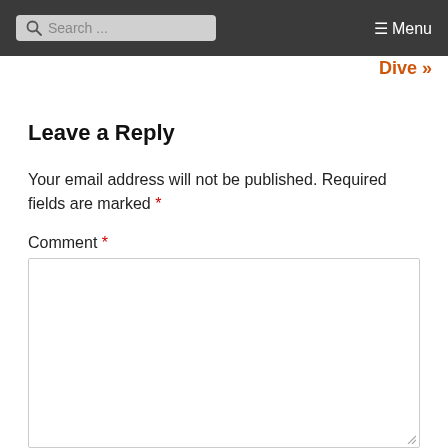Search ... ☰ Menu
Dive »
Leave a Reply
Your email address will not be published. Required fields are marked *
Comment *